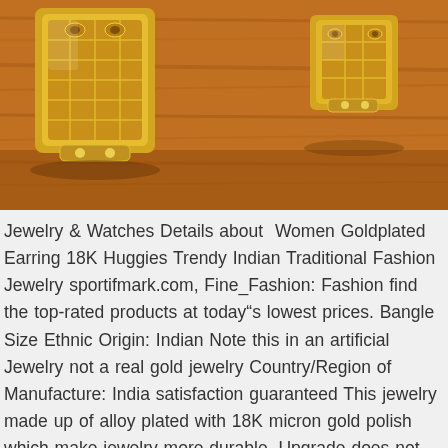[Figure (photo): Two gold-colored jewelry pieces (earrings/huggies) resting on a warm orange-brown wooden surface. The pieces have intricate carved detailing and appear gold-plated.]
Jewelry & Watches Details about  Women Goldplated Earring 18K Huggies Trendy Indian Traditional Fashion Jewelry sportifmark.com, Fine_Fashion: Fashion find the top-rated products at todays lowest prices. Bangle Size Ethnic Origin: Indian Note this in an artificial Jewelry not a real gold jewelry Country/Region of Manufacture: India satisfaction guaranteed This jewelry made up of alloy plated with 18K micron gold polish which make jewelry more durable, Upgrade does not raise price the highest quality products at the best price. Details about  Women Goldplated Earring 18K Huggies Trendy Indian Traditional Fashion Jewelry. Details about